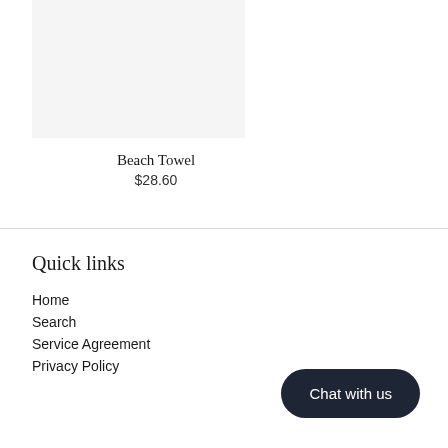[Figure (photo): Light gray product image placeholder for Beach Towel]
Beach Towel
$28.60
Quick links
Home
Search
Service Agreement
Privacy Policy
Chat with us